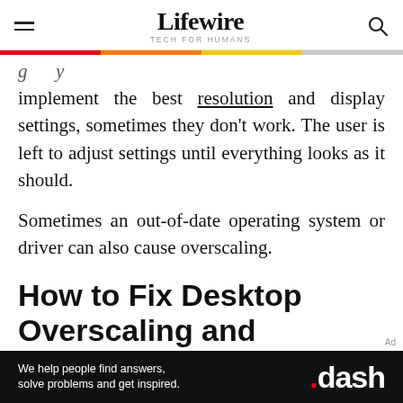Lifewire | TECH FOR HUMANS
implement the best resolution and display settings, sometimes they don't work. The user is left to adjust settings until everything looks as it should.
Sometimes an out-of-date operating system or driver can also cause overscaling.
How to Fix Desktop Overscaling and
Ad
[Figure (infographic): Advertisement banner: black background with text 'We help people find answers, solve problems and get inspired.' and the .dash logo in red and white]